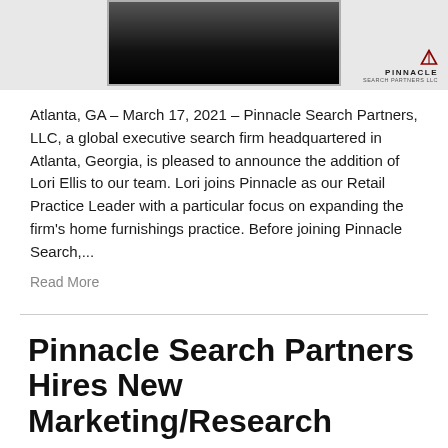[Figure (photo): Top portion of a professional headshot photo with a dark background, partially cropped, inside a bordered frame. The Pinnacle Search Partners LLC logo appears in the bottom right corner of the gray banner area.]
Atlanta, GA – March 17, 2021 – Pinnacle Search Partners, LLC, a global executive search firm headquartered in Atlanta, Georgia, is pleased to announce the addition of Lori Ellis to our team. Lori joins Pinnacle as our Retail Practice Leader with a particular focus on expanding the firm's home furnishings practice. Before joining Pinnacle Search,...
Read More
Pinnacle Search Partners Hires New Marketing/Research